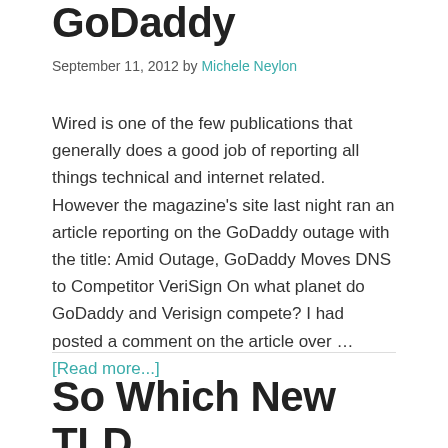GoDaddy
September 11, 2012 by Michele Neylon
Wired is one of the few publications that generally does a good job of reporting all things technical and internet related. However the magazine's site last night ran an article reporting on the GoDaddy outage with the title: Amid Outage, GoDaddy Moves DNS to Competitor VeriSign On what planet do GoDaddy and Verisign compete? I had posted a comment on the article over … [Read more...]
So Which New TLD Applicants Claim To Be